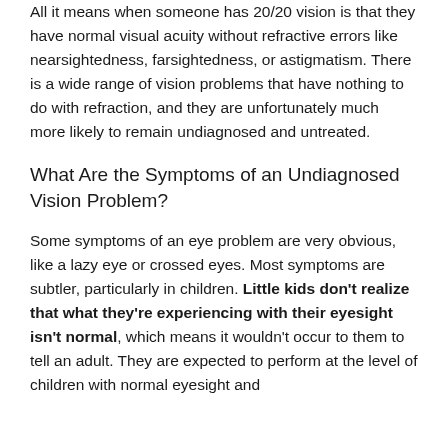All it means when someone has 20/20 vision is that they have normal visual acuity without refractive errors like nearsightedness, farsightedness, or astigmatism. There is a wide range of vision problems that have nothing to do with refraction, and they are unfortunately much more likely to remain undiagnosed and untreated.
What Are the Symptoms of an Undiagnosed Vision Problem?
Some symptoms of an eye problem are very obvious, like a lazy eye or crossed eyes. Most symptoms are subtler, particularly in children. Little kids don't realize that what they're experiencing with their eyesight isn't normal, which means it wouldn't occur to them to tell an adult. They are expected to perform at the level of children with normal eyesight and